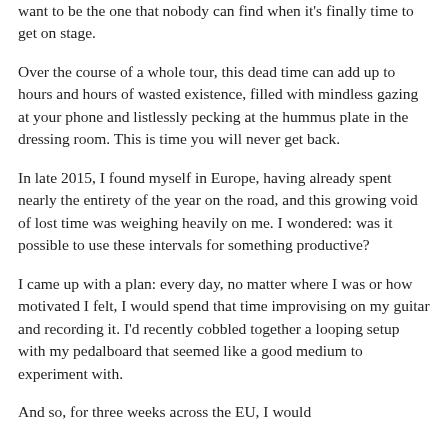want to be the one that nobody can find when it's finally time to get on stage.
Over the course of a whole tour, this dead time can add up to hours and hours of wasted existence, filled with mindless gazing at your phone and listlessly pecking at the hummus plate in the dressing room. This is time you will never get back.
In late 2015, I found myself in Europe, having already spent nearly the entirety of the year on the road, and this growing void of lost time was weighing heavily on me. I wondered: was it possible to use these intervals for something productive?
I came up with a plan: every day, no matter where I was or how motivated I felt, I would spend that time improvising on my guitar and recording it. I'd recently cobbled together a looping setup with my pedalboard that seemed like a good medium to experiment with.
And so, for three weeks across the EU, I would